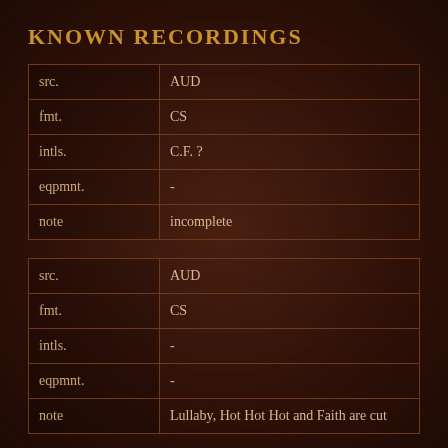KNOWN RECORDINGS
| field | value |
| --- | --- |
| src. | AUD |
| fmt. | CS |
| intls. | C.F. ? |
| eqpmnt. | - |
| note | incomplete |
| field | value |
| --- | --- |
| src. | AUD |
| fmt. | CS |
| intls. | - |
| eqpmnt. | - |
| note | Lullaby, Hot Hot Hot and Faith are cut |